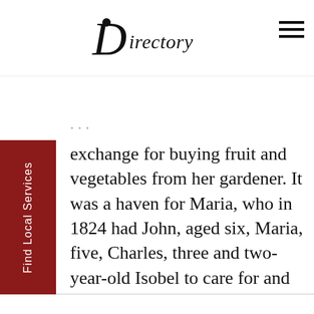Directory
exchange for buying fruit and vegetables from her gardener. It was a haven for Maria, who in 1824 had John, aged six, Maria, five, Charles, three and two-year-old Isobel to care for and was pregnant again.

There were also the obliging next door neighbours, mentioned again and again in the letters, the Masqueriers. That unusual name (Mr Masquerier was a French